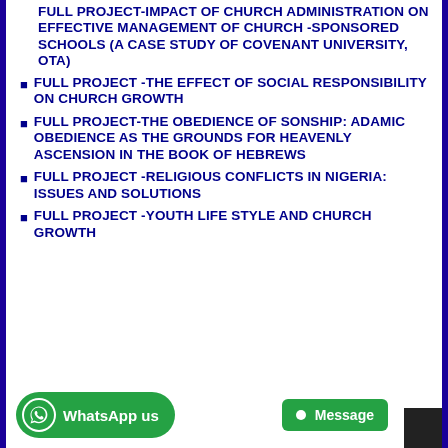FULL PROJECT-IMPACT OF CHURCH ADMINISTRATION ON EFFECTIVE MANAGEMENT OF CHURCH -SPONSORED SCHOOLS (A CASE STUDY OF COVENANT UNIVERSITY, OTA)
FULL PROJECT -THE EFFECT OF SOCIAL RESPONSIBILITY ON CHURCH GROWTH
FULL PROJECT-THE OBEDIENCE OF SONSHIP: ADAMIC OBEDIENCE AS THE GROUNDS FOR HEAVENLY ASCENSION IN THE BOOK OF HEBREWS
FULL PROJECT -RELIGIOUS CONFLICTS IN NIGERIA: ISSUES AND SOLUTIONS
FULL PROJECT -YOUTH LIFE STYLE AND CHURCH GROWTH